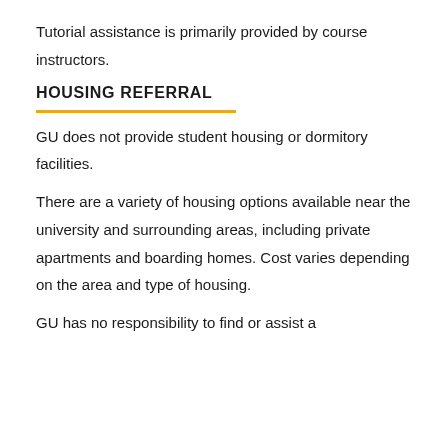Tutorial assistance is primarily provided by course instructors.
HOUSING REFERRAL
GU does not provide student housing or dormitory facilities.
There are a variety of housing options available near the university and surrounding areas, including private apartments and boarding homes. Cost varies depending on the area and type of housing.
GU has no responsibility to find or assist a